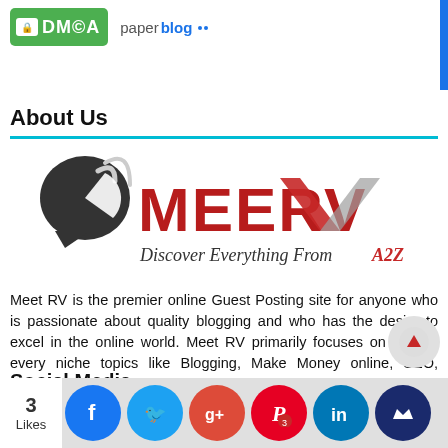[Figure (logo): DMCA green badge logo]
[Figure (logo): Paperblog logo in grey and blue]
About Us
[Figure (logo): MeetRV logo with dark chat bubble icon, red MEERV text and 'Discover Everything From A2Z' tagline]
Meet RV is the premier online Guest Posting site for anyone who is passionate about quality blogging and who has the desire to excel in the online world. Meet RV primarily focuses on all and every niche topics like Blogging, Make Money online, SEO, Business Blogging, Social Media, Home & Garden, Technology, Entertainment and many more. Contact : Meetrv.com@gmail.com
Social Media
[Figure (infographic): Social media icon buttons: Facebook (3 Likes), Twitter, Google+, Pinterest (3), LinkedIn, crown icon]